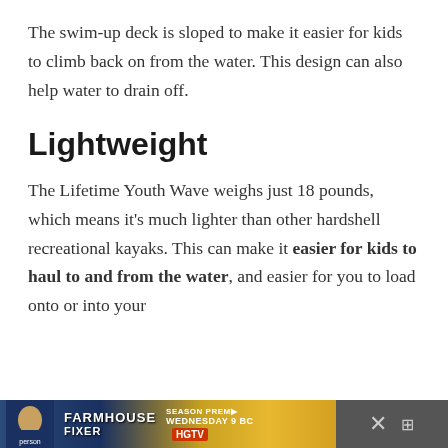The swim-up deck is sloped to make it easier for kids to climb back on from the water. This design can also help water to drain off.
Lightweight
The Lifetime Youth Wave weighs just 18 pounds, which means it’s much lighter than other hardshell recreational kayaks. This can make it easier for kids to haul to and from the water, and easier for you to load onto or into your
[Figure (other): Advertisement banner for HGTV Farmhouse Fixer Season Premiere, Wednesday 9 BC, with close/dismiss button on right side]